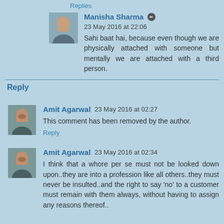Replies
Manisha Sharma  23 May 2016 at 22:06
Sahi baat hai, because even though we are physically attached with someone but mentally we are attached with a third person.
Reply
Amit Agarwal  23 May 2016 at 02:27
This comment has been removed by the author.
Reply
Amit Agarwal  23 May 2016 at 02:34
I think that a whore per se must not be looked down upon..they are into a profession like all others..they must never be insulted..and the right to say 'no' to a customer must remain with them always, without having to assign any reasons thereof..